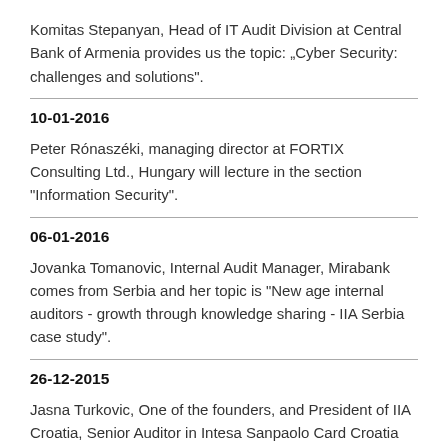Komitas Stepanyan, Head of IT Audit Division at Central Bank of Armenia provides us the topic: „Cyber Security: challenges and solutions".
10-01-2016
Peter Rónaszéki, managing director at FORTIX Consulting Ltd., Hungary will lecture in the section "Information Security".
06-01-2016
Jovanka Tomanovic, Internal Audit Manager, Mirabank comes from Serbia and her topic is "New age internal auditors - growth through knowledge sharing - IIA Serbia case study".
26-12-2015
Jasna Turkovic, One of the founders, and President of IIA Croatia, Senior Auditor in Intesa Sanpaolo Card Croatia also comes to give us a presentation.